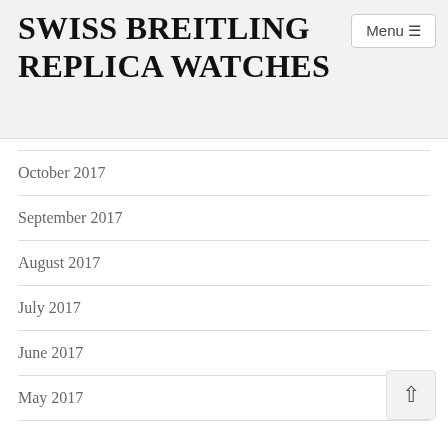SWISS BREITLING REPLICA WATCHES
October 2017
September 2017
August 2017
July 2017
June 2017
May 2017